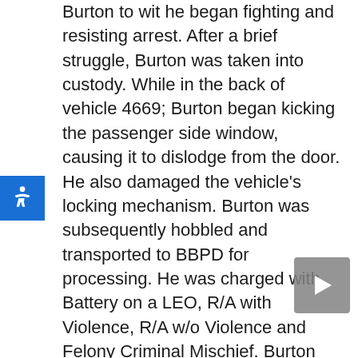Burton to wit he began fighting and resisting arrest. After a brief struggle, Burton was taken into custody. While in the back of vehicle 4669; Burton began kicking the passenger side window, causing it to dislodge from the door. He also damaged the vehicle's locking mechanism. Burton was subsequently hobbled and transported to BBPD for processing. He was charged with Battery on a LEO, R/A with Violence, R/A w/o Violence and Felony Criminal Mischief. Burton was tot PBCJ. 18-034891 2249 hours Fleeing and Eluding Arrest 1200 N. Seacrest Blvd. Agent Herny attempted to stop a stolen 2018 Hyundai Elantra bearing FL tag CCFZ95 operated by b/m Brindly Deneus at the aforementioned location. The vehicle failed to yield and fled onto I95 SB where the stop was terminated. A short time later He was contacted by BBPD and informed